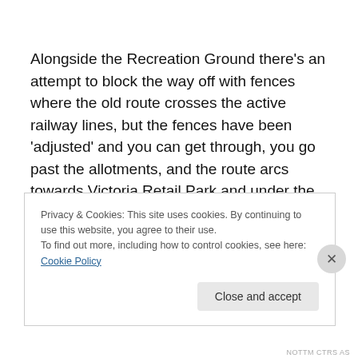Alongside the Recreation Ground there’s an attempt to block the way off with fences where the old route crosses the active railway lines, but the fences have been ‘adjusted’ and you can get through, you go past the allotments, and the route arcs towards Victoria Retail Park and under the Colwick Loop Road before terminating at Victoria Road on Netherfield with a substantial fence and
Privacy & Cookies: This site uses cookies. By continuing to use this website, you agree to their use.
To find out more, including how to control cookies, see here: Cookie Policy
Close and accept